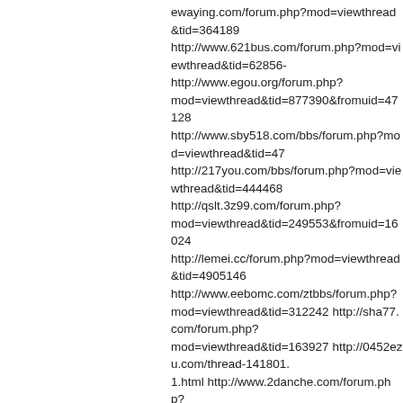ewaying.com/forum.php?mod=viewthread&tid=364189 http://www.621bus.com/forum.php?mod=viewthread&tid=62856- http://www.egou.org/forum.php?mod=viewthread&tid=877390&fromuid=47128 http://www.sby518.com/bbs/forum.php?mod=viewthread&tid=47 http://217you.com/bbs/forum.php?mod=viewthread&tid=444468 http://qslt.3z99.com/forum.php?mod=viewthread&tid=249553&fromuid=16024 http://lemei.cc/forum.php?mod=viewthread&tid=4905146 http://www.eebomc.com/ztbbs/forum.php?mod=viewthread&tid=312242 http://sha77.com/forum.php?mod=viewthread&tid=163927 http://0452ezu.com/thread-141801.html http://www.2danche.com/forum.php?mod=viewthread&tid=273296&fromuid=17224 http://bbs.chuangfe.com/forum.php?mod=viewthread&tid=25343 http://121.199.30.138/forum.php?mod=viewthread&tid=132036&fromuid=6813 http://www.22091.com/bbs/forum.php?mod=viewthread&tid=205929&fromuid=17238 http://98.131.168.84/thread-307033-1-1.html http://demo.beigor.com/forum.php?mod=viewthread&tid=345485 http://forum.rysj.com.tw/forum.php?mod=viewthread&tid=24939 http://huangjinjudian.net/forum.php?mod=viewthread&tid=18766